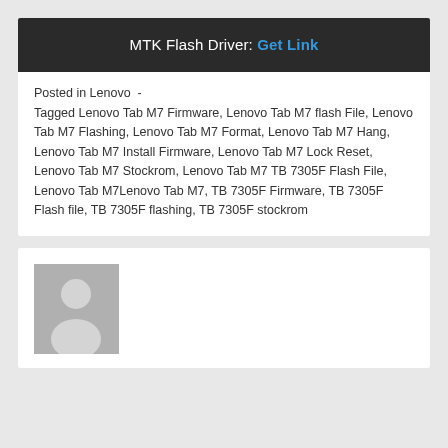MTK Flash Driver: Get Link
Posted in Lenovo  -
Tagged Lenovo Tab M7 Firmware, Lenovo Tab M7 flash File, Lenovo Tab M7 Flashing, Lenovo Tab M7 Format, Lenovo Tab M7 Hang, Lenovo Tab M7 Install Firmware, Lenovo Tab M7 Lock Reset, Lenovo Tab M7 Stockrom, Lenovo Tab M7 TB 7305F Flash File, Lenovo Tab M7Lenovo Tab M7, TB 7305F Firmware, TB 7305F Flash file, TB 7305F flashing, TB 7305F stockrom
[Figure (illustration): Generic user avatar placeholder image showing a silhouette of a person on grey background]